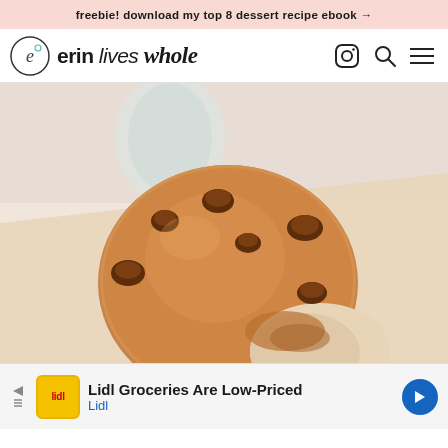freebie! download my top 8 dessert recipe ebook →
[Figure (logo): Erin Lives Whole website header with circular logo icon and navigation icons (Instagram, Search, Menu)]
[Figure (photo): Close-up photo of a chocolate chip cookie with a bite taken out, sitting on parchment paper with a glass of milk blurred in background]
Lidl Groceries Are Low-Priced  Lidl